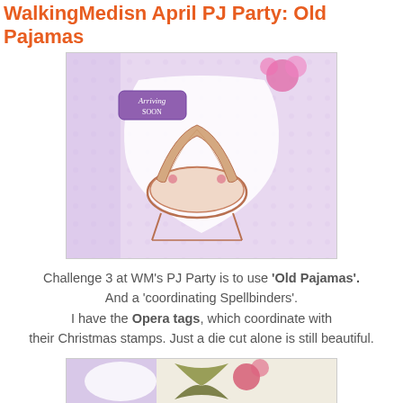WalkingMedisn April PJ Party: Old Pajamas
[Figure (photo): Close-up of a handmade greeting card with a purple patterned background, featuring an ornate vintage bassinet/cradle stamp image in pink/copper tones, a white decorative label shape, and pink ribbon flowers. An 'Arriving Soon' tag is visible.]
Challenge 3 at WM's PJ Party is to use 'Old Pajamas'. And a 'coordinating Spellbinders'. I have the Opera tags, which coordinate with their Christmas stamps. Just a die cut alone is still beautiful.
[Figure (photo): Partial view of another handmade card with olive green and pink ribbon, purple patterned paper background, and a white label shape.]